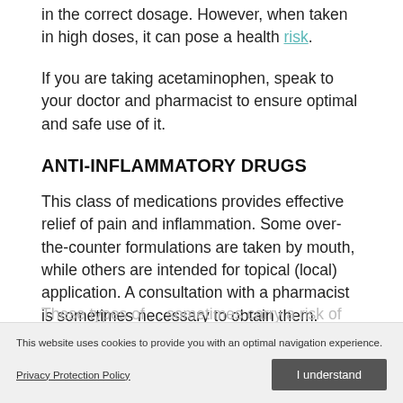in the correct dosage. However, when taken in high doses, it can pose a health risk.
If you are taking acetaminophen, speak to your doctor and pharmacist to ensure optimal and safe use of it.
ANTI-INFLAMMATORY DRUGS
This class of medications provides effective relief of pain and inflammation. Some over-the-counter formulations are taken by mouth, while others are intended for topical (local) application. A consultation with a pharmacist is sometimes necessary to obtain them. Doctors sometimes prescribe anti-inflammatory drugs requiring a prescription to ease osteoarthritis pain.
These types of... sometimes carry a risk of adverse effects, and there are some contraindications ... be aware of. Additional inflammatory drugs... interact with other...
This website uses cookies to provide you with an optimal navigation experience.
Privacy Protection Policy
I understand